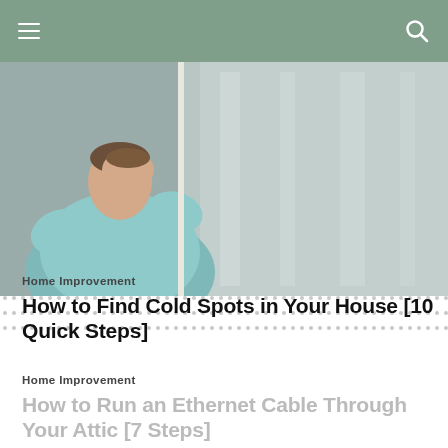[Figure (photo): Person wearing light blue shirt, head down, working near a wall with metallic/foil insulation material visible]
Home Improvement
How to Find Cold Spots in Your House [10 Quick Steps]
Home Improvement
How to Run an Ethernet Cable Through Your Attic [7 Steps]